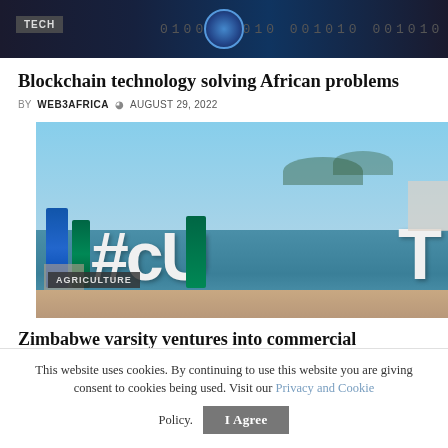[Figure (photo): Tech-themed banner image with binary numbers and circular tech element on dark background, with TECH badge overlay]
Blockchain technology solving African problems
BY WEB3AFRICA  AUGUST 29, 2022
[Figure (photo): Outdoor event photo showing large #CUT letters on a blue stage with event banners and blue sky background, with AGRICULTURE badge overlay]
Zimbabwe varsity ventures into commercial production of
This website uses cookies. By continuing to use this website you are giving consent to cookies being used. Visit our Privacy and Cookie Policy.
I Agree